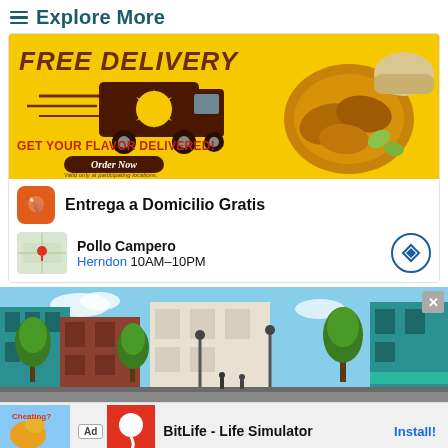Explore More
[Figure (photo): Pollo Campero ad banner: yellow background with 'FREE DELIVERY' text, delivery truck illustration, chicken wings on a plate, 'GET YOUR FLAVOR DELIVERED!' text, 'Order Now' button, 'Valid only at participating locations.']
Entrega a Domicilio Gratis
Pollo Campero
Herndon 10AM–10PM
[Figure (photo): Street scene with teal and white buildings, trees, sunny sky — urban shopping district photo]
Ad   BitLife - Life Simulator   Install!